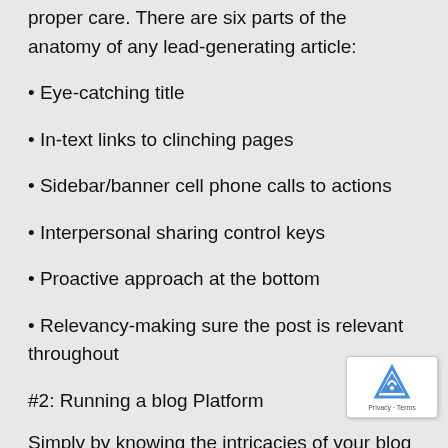proper care. There are six parts of the anatomy of any lead-generating article:
• Eye-catching title
• In-text links to clinching pages
• Sidebar/banner cell phone calls to actions
• Interpersonal sharing control keys
• Proactive approach at the bottom
• Relevancy-making sure the post is relevant throughout
#2: Running a blog Platform
Simply by knowing the intricacies of your blog platform, you'll ensure that you look as nice as they can. Take time to ma the visual editor (or uncooked HTML, in case you prefer) order that you know how to formatting a content, insert an images and integrate it however you please.